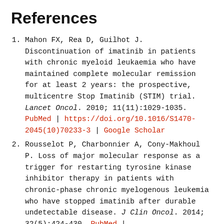References
Mahon FX, Rea D, Guilhot J. Discontinuation of imatinib in patients with chronic myeloid leukaemia who have maintained complete molecular remission for at least 2 years: the prospective, multicentre Stop Imatinib (STIM) trial. Lancet Oncol. 2010; 11(11):1029-1035. PubMed | https://doi.org/10.1016/S1470-2045(10)70233-3 | Google Scholar
Rousselot P, Charbonnier A, Cony-Makhoul P. Loss of major molecular response as a trigger for restarting tyrosine kinase inhibitor therapy in patients with chronic-phase chronic myelogenous leukemia who have stopped imatinib after durable undetectable disease. J Clin Oncol. 2014; 32(5):424-430. PubMed | https://doi.org/10.1200/JCO.2012.48.5797 | Google